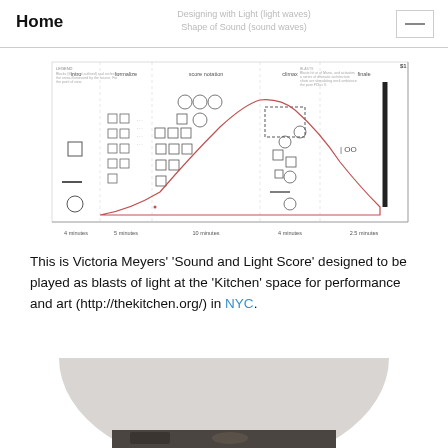Home | Designing with Light (light waves) | Shape of Sound (sound waves)
[Figure (schematic): Victoria Meyers' Sound and Light Score diagram showing a grid with columns labeled intro, formalize, score notation, climax, finale, with rows of squares, circles, and dashes representing musical/light score notation. A curved bell-shaped red line rises and falls across the score. Time markers at bottom: 4 minutes, 5 minutes, 10 minutes, 4 minutes, 2.5 minutes.]
This is Victoria Meyers'  'Sound and Light Score' designed to be played as blasts of light at the 'Kitchen' space for performance and art (http://thekitchen.org/) in NYC.
[Figure (photo): Partial view of a light gray semicircular/dome shape at top, with a darker photographic image partially visible at the bottom edge showing what appears to be a surface with objects.]